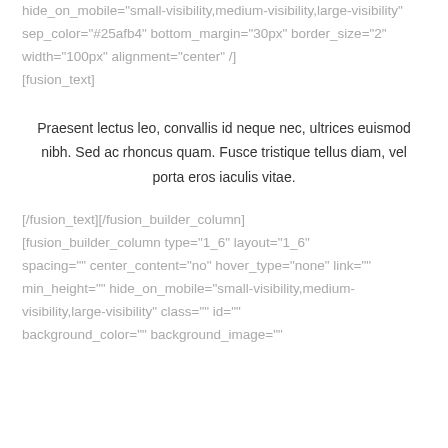hide_on_mobile="small-visibility,medium-visibility,large-visibility" sep_color="#25afb4" bottom_margin="30px" border_size="2" width="100px" alignment="center" /] [fusion_text]
Praesent lectus leo, convallis id neque nec, ultrices euismod nibh. Sed ac rhoncus quam. Fusce tristique tellus diam, vel porta eros iaculis vitae.
[/fusion_text][/fusion_builder_column] [fusion_builder_column type="1_6" layout="1_6" spacing="" center_content="no" hover_type="none" link="" min_height="" hide_on_mobile="small-visibility,medium-visibility,large-visibility" class="" id="" background_color="" background_image=""